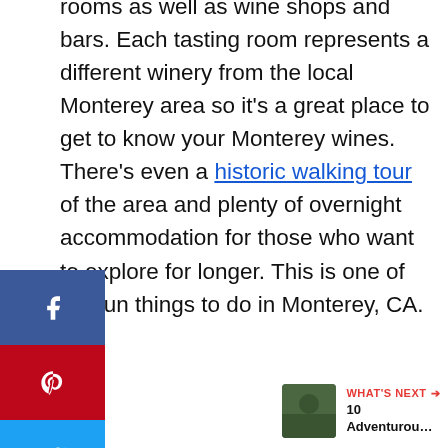rooms as well as wine shops and bars. Each tasting room represents a different winery from the local Monterey area so it's a great place to get to know your Monterey wines. There's even a historic walking tour of the area and plenty of overnight accommodation for those who want to explore for longer. This is one of the fun things to do in Monterey, CA.
[Figure (screenshot): Social sharing sidebar with Facebook, Pinterest, Twitter, and Flipboard buttons on the left side]
ADVERTISEMENT
[Figure (infographic): Right-side action buttons: red heart/like button with 3.5K count, and a share button]
[Figure (infographic): What's Next widget showing thumbnail image and text '10 Adventurou...']